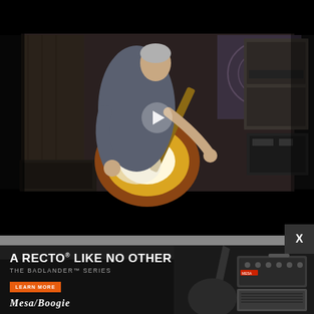[Figure (screenshot): Video player showing a guitarist with gray hair playing a sunburst Fender Stratocaster electric guitar in a room full of amplifiers. A play button is overlaid in the center of the video. The scene is dark with amplifier stacks visible on the right and left sides.]
[Figure (illustration): Advertisement banner for Mesa/Boogie. Black background with text 'A RECTO LIKE NO OTHER / THE BADLANDER SERIES', an orange 'LEARN MORE' button, the Mesa/Boogie logo, and images of guitar amplifier equipment on the right side. An X close button appears in the upper-right corner of the ad area.]